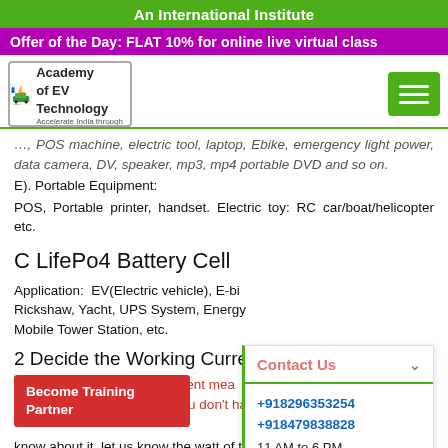An International Institute
Offer of the Day: FLAT 10% for online live virtual class
[Figure (logo): Academy of EV Technology (AEVT) logo with green car icon]
POS machine, electric tool, laptop, Ebike, emergency light power, data camera, DV, speaker, mp3, mp4 portable DVD and so on.
E). Portable Equipment:
POS, Portable printer, handset. Electric toy: RC car/boat/helicopter etc.
C LifePo4 Battery Cell
Application: EV(Electric vehicle), E-bike, E-automobile, Rickshaw, Yacht, UPS System, Energy Storage System, Mobile Tower Station, etc.
2 Decide the Working Current and Power
Working Current/Instant Current means the current the device draws in general, if you don't have an engineer to know about it, let us know the watt of the device.